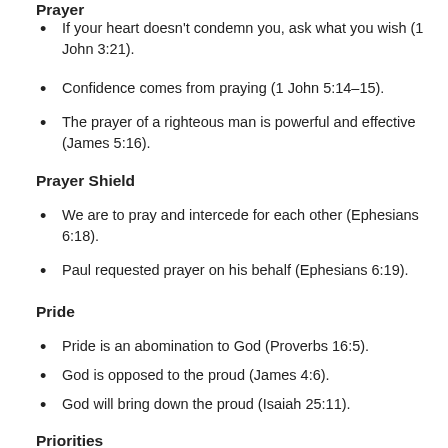If your heart doesn’t condemn you, ask what you wish (1 John 3:21).
Confidence comes from praying (1 John 5:14–15).
The prayer of a righteous man is powerful and effective (James 5:16).
Prayer Shield
We are to pray and intercede for each other (Ephesians 6:18).
Paul requested prayer on his behalf (Ephesians 6:19).
Pride
Pride is an abomination to God (Proverbs 16:5).
God is opposed to the proud (James 4:6).
God will bring down the proud (Isaiah 25:11).
Priorities